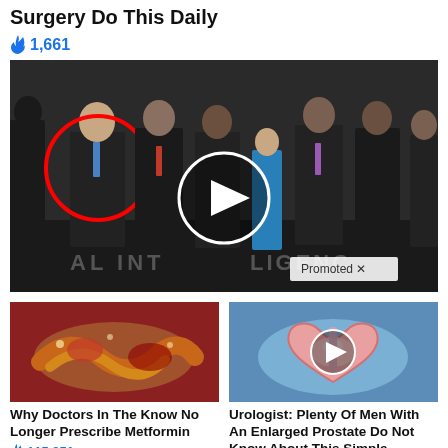Surgery Do This Daily
🔥 1,661
[Figure (photo): Group photo of men in suits standing in what appears to be a CIA lobby. One man on the left is circled in red. A video play button circle is overlaid in the center. A 'Promoted X' label appears at bottom right.]
[Figure (photo): Close-up medical/organ image showing intestines or visceral organs in reddish-brown tones.]
Why Doctors In The Know No Longer Prescribe Metformin
🔥 115,251
[Figure (photo): Medical illustration of prostate anatomy in pink/blue tones with a video play button overlaid in the center.]
Urologist: Plenty Of Men With An Enlarged Prostate Do Not Know About This Simple Solution
🔥 3,216